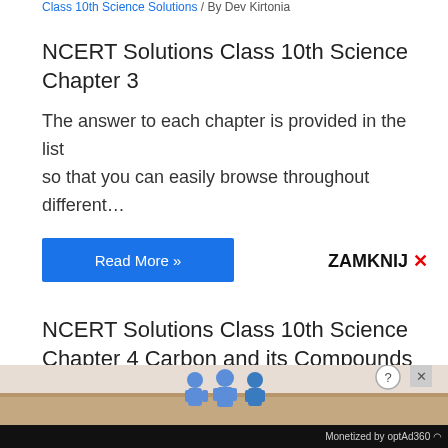Class 10th Science Solutions / By Dev Kirtonia
NCERT Solutions Class 10th Science Chapter 3
The answer to each chapter is provided in the list so that you can easily browse throughout different…
Read More »
ZAMKNIJ ✕
NCERT Solutions Class 10th Science Chapter 4 Carbon and its Compounds
Class 10th Science Solutions / By Dev Kirtonia
NCERT Solutions Class 10th Science Chapter 4
[Figure (illustration): Advertisement banner with cartoon figures and close/help buttons]
Monetized by optAd360